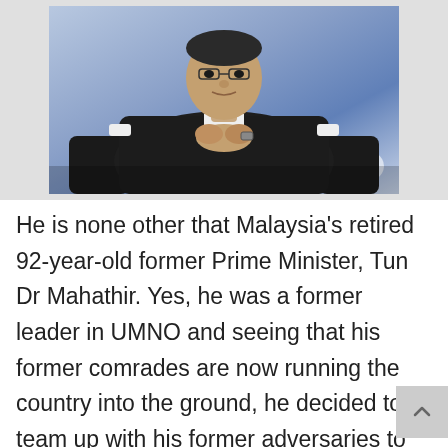[Figure (photo): A seated elderly man in a dark suit with clasped hands, with a blue backdrop behind him]
He is none other that Malaysia's retired 92-year-old former Prime Minister, Tun Dr Mahathir. Yes, he was a former leader in UMNO and seeing that his former comrades are now running the country into the ground, he decided to team up with his former adversaries to do the unthinkable. He planned to return to his former post after 15 years. Knowing that he can't hold the